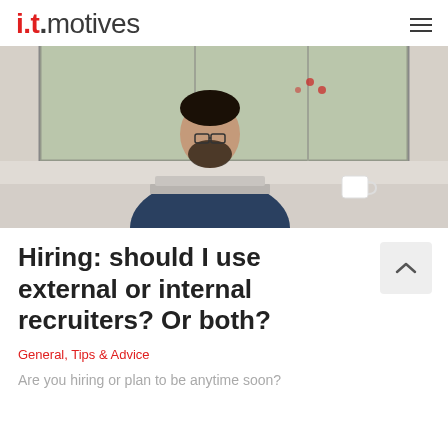i.t.motives
[Figure (photo): Man with beard wearing dark blue shirt, sitting at a table with a laptop open in front of him and a white mug to the right, in front of large windows with greenery outside.]
Hiring: should I use external or internal recruiters? Or both?
General, Tips & Advice
Are you hiring or plan to be anytime soon?